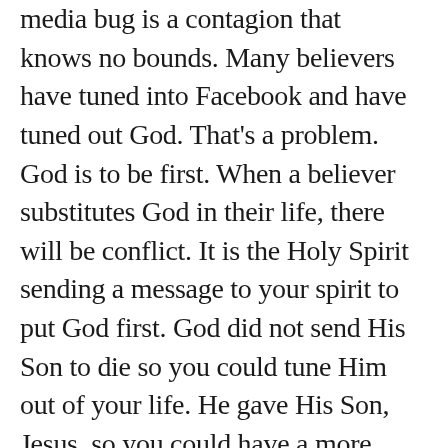media bug is a contagion that knows no bounds. Many believers have tuned into Facebook and have tuned out God. That's a problem. God is to be first. When a believer substitutes God in their life, there will be conflict. It is the Holy Spirit sending a message to your spirit to put God first. God did not send His Son to die so you could tune Him out of your life. He gave His Son, Jesus, so you could have a more abundant life but that abundant life doesn't happen with social media (as research is beginning to reveal); it happens through our relationship with Christ. When a believer surrenders